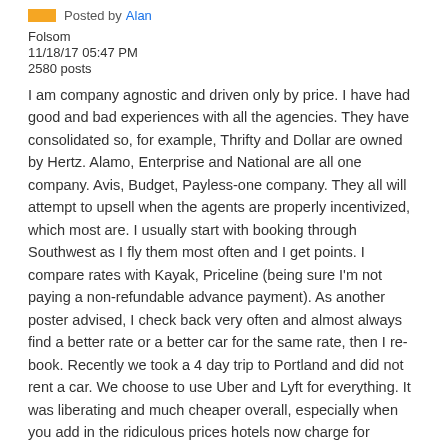Posted by Alan
Folsom
11/18/17 05:47 PM
2580 posts
I am company agnostic and driven only by price. I have had good and bad experiences with all the agencies. They have consolidated so, for example, Thrifty and Dollar are owned by Hertz. Alamo, Enterprise and National are all one company. Avis, Budget, Payless-one company. They all will attempt to upsell when the agents are properly incentivized, which most are. I usually start with booking through Southwest as I fly them most often and I get points. I compare rates with Kayak, Priceline (being sure I'm not paying a non-refundable advance payment). As another poster advised, I check back very often and almost always find a better rate or a better car for the same rate, then I re-book. Recently we took a 4 day trip to Portland and did not rent a car. We choose to use Uber and Lyft for everything. It was liberating and much cheaper overall, especially when you add in the ridiculous prices hotels now charge for parking. Larry,